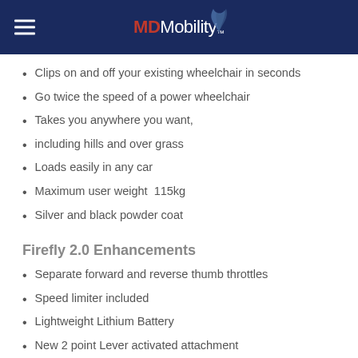MDMobility
Clips on and off your existing wheelchair in seconds
Go twice the speed of a power wheelchair
Takes you anywhere you want,
including hills and over grass
Loads easily in any car
Maximum user weight  115kg
Silver and black powder coat
Firefly 2.0 Enhancements
Separate forward and reverse thumb throttles
Speed limiter included
Lightweight Lithium Battery
New 2 point Lever activated attachment
Easily attaches and detaches from your wheelchair